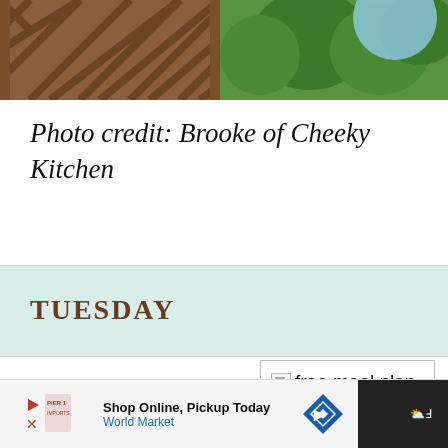[Figure (photo): Top portion of image showing wooden lattice/trellis fence with green trees and a light blue circular element in the upper right corner]
Photo credit: Brooke of Cheeky Kitchen
TUESDAY
This is a hearty, stick-to-your-
[Figure (photo): Image placeholder with text: free meal plan Spicy Chicken]
[Figure (screenshot): Advertisement bar: Shop Online, Pickup Today - World Market with navigation arrow icon]